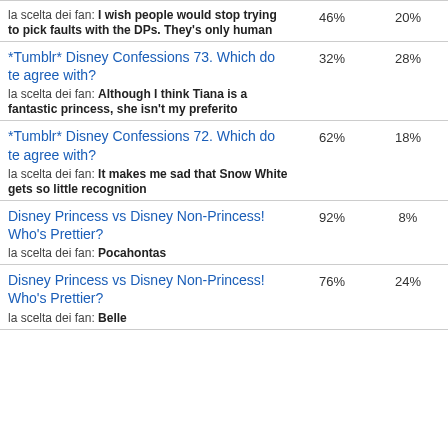la scelta dei fan: I wish people would stop trying to pick faults with the DPs. They's only human | 46% | 20%
*Tumblr* Disney Confessions 73. Which do te agree with? | la scelta dei fan: Although I think Tiana is a fantastic princess, she isn't my preferito | 32% | 28%
*Tumblr* Disney Confessions 72. Which do te agree with? | la scelta dei fan: It makes me sad that Snow White gets so little recognition | 62% | 18%
Disney Princess vs Disney Non-Princess! Who's Prettier? | la scelta dei fan: Pocahontas | 92% | 8%
Disney Princess vs Disney Non-Princess! Who's Prettier? | la scelta dei fan: Belle | 76% | 24%